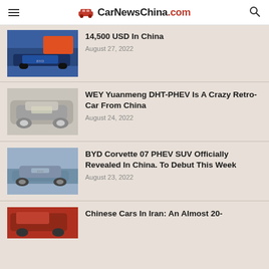CarNewsChina.com
14,500 USD In China
August 27, 2022
WEY Yuanmeng DHT-PHEV Is A Crazy Retro-Car From China
August 24, 2022
BYD Corvette 07 PHEV SUV Officially Revealed In China. To Debut This Week
August 23, 2022
Chinese Cars In Iran: An Almost 20-